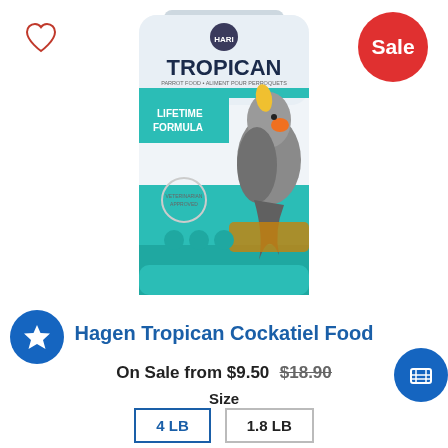[Figure (photo): Heart/wishlist icon (outline) in top-left corner]
[Figure (infographic): Red circular Sale badge in top-right corner with white text 'Sale']
[Figure (photo): Product photo of Hagen Tropican Cockatiel Food bag - white and teal packaging with a cockatiel bird, showing LIFETIME FORMULA text]
[Figure (infographic): Blue circular badge with white star icon on the left side]
Hagen Tropican Cockatiel Food
On Sale from $9.50 $18.90
Size
4 LB
1.8 LB
[Figure (infographic): Blue circular cart/register icon badge on the right side]